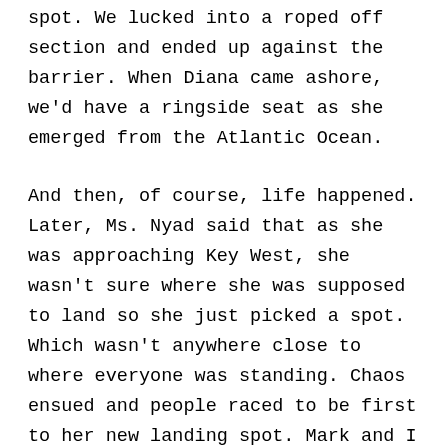spot. We lucked into a roped off section and ended up against the barrier. When Diana came ashore, we'd have a ringside seat as she emerged from the Atlantic Ocean.
And then, of course, life happened. Later, Ms. Nyad said that as she was approaching Key West, she wasn't sure where she was supposed to land so she just picked a spot. Which wasn't anywhere close to where everyone was standing. Chaos ensued and people raced to be first to her new landing spot. Mark and I were separated and I quickly gave up. There was no way I was going to get close up to the action. I texted my husband, took my sandals